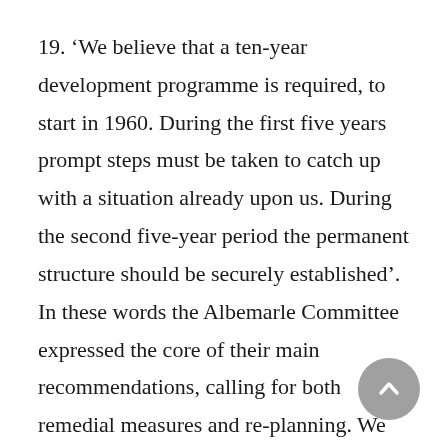19. ‘We believe that a ten-year development programme is required, to start in 1960. During the first five years prompt steps must be taken to catch up with a situation already upon us. During the second five-year period the permanent structure should be securely established’. In these words the Albemarle Committee expressed the core of their main recommendations, calling for both remedial measures and re-planning. We ourselves need to review the progress made in carrying out these recommendations, before we come to the measures necessary for further